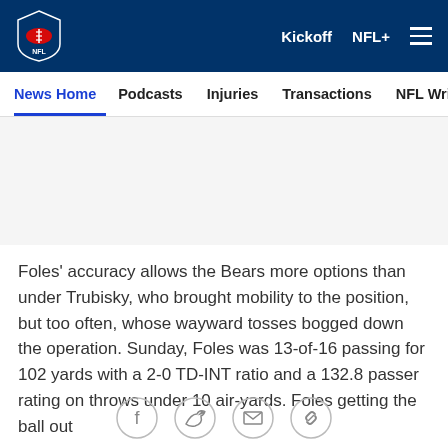NFL News - Kickoff NFL+
News Home | Podcasts | Injuries | Transactions | NFL Writers
[Figure (other): Advertisement banner placeholder]
Foles' accuracy allows the Bears more options than under Trubisky, who brought mobility to the position, but too often, whose wayward tosses bogged down the operation. Sunday, Foles was 13-of-16 passing for 102 yards with a 2-0 TD-INT ratio and a 132.8 passer rating on throws under 10 air-yards. Foles getting the ball out
[Figure (other): Social sharing icons: Facebook, Twitter, Email, Link]